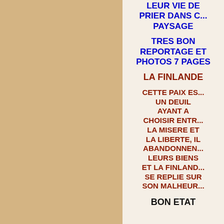[Figure (photo): Left panel with tan/beige solid color background occupying approximately the left 55% of the page]
LEUR VIE DE PRIER DANS C... PAYSAGE
TRES BON REPORTAGE ET PHOTOS 7 PAGES
LA FINLANDE
CETTE PAIX ES... UN DEUIL AYANT A CHOISIR ENTR... LA MISERE ET LA LIBERTE, IL ABANDONNEN... LEURS BIENS ET LA FINLAND... SE REPLIE SUR SON MALHE...
BON ETAT